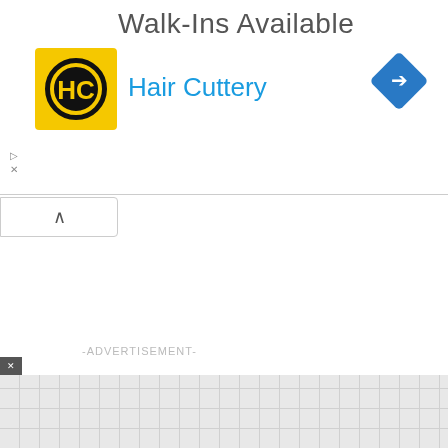Walk-Ins Available
[Figure (logo): Hair Cuttery logo - yellow square with HC initials in black circle]
Hair Cuttery
[Figure (illustration): Blue diamond navigation/directions icon with white right-turn arrow]
-ADVERTISEMENT-
[Figure (screenshot): Video player thumbnail showing dark background with white circle outline and small golden dot. Text reads: How To Open 7 Chakras - Meditation and Healing - SunSigns.Org]
How To Open 7 Chakras - Meditation and Healing - SunSigns.Org
Sterling OPEN 7AM–9PM 23030 Indian Creek Dr, Ste…